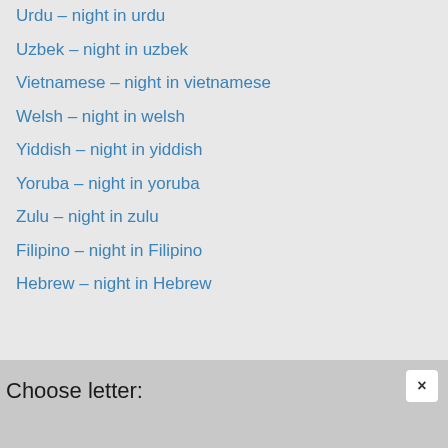Urdu – night in urdu
Uzbek – night in uzbek
Vietnamese – night in vietnamese
Welsh – night in welsh
Yiddish – night in yiddish
Yoruba – night in yoruba
Zulu – night in zulu
Filipino – night in Filipino
Hebrew – night in Hebrew
Choose letter: